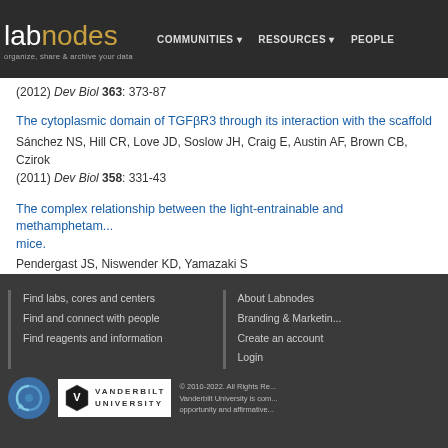labnodes - organize, share & archive your data | COMMUNITIES | RESOURCES | PEOPLE
(2012) Dev Biol 363: 373-87
The cytoplasmic domain of TGFβR3 through its interaction with the scaffold...
Sánchez NS, Hill CR, Love JD, Soslow JH, Craig E, Austin AF, Brown CB, Czirok...
(2011) Dev Biol 358: 331-43
The complex relationship between the light-entrainable and methamphetam... mice.
Pendergast JS, Niswender KD, Yamazaki S
(2013) Eur J Neurosci 38: 3044-53
Find labs, cores and centers | Find and connect with people | Find reagents and information | About Labnodes | Branding & Marketing | Create an account | Login | © 2010-2022. All Rights Reserved. Vanderbilt University is committed to equal opportunity and affirmative...